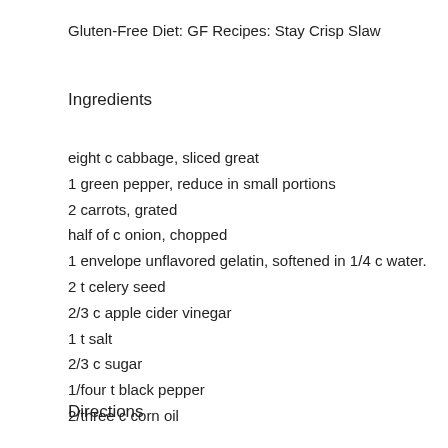Gluten-Free Diet: GF Recipes: Stay Crisp Slaw
Ingredients
eight c cabbage, sliced great
1 green pepper, reduce in small portions
2 carrots, grated
half of c onion, chopped
1 envelope unflavored gelatin, softened in 1/4 c water.
2 t celery seed
2/3 c apple cider vinegar
1 t salt
2/3 c sugar
1/four t black pepper
2/three c corn oil
Directions